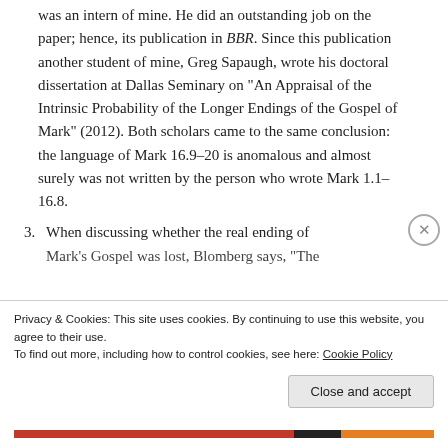was an intern of mine. He did an outstanding job on the paper; hence, its publication in BBR. Since this publication another student of mine, Greg Sapaugh, wrote his doctoral dissertation at Dallas Seminary on “An Appraisal of the Intrinsic Probability of the Longer Endings of the Gospel of Mark” (2012). Both scholars came to the same conclusion: the language of Mark 16.9–20 is anomalous and almost surely was not written by the person who wrote Mark 1.1–16.8.
3. When discussing whether the real ending of Mark’s Gospel was lost, Blomberg says, “The
Privacy & Cookies: This site uses cookies. By continuing to use this website, you agree to their use. To find out more, including how to control cookies, see here: Cookie Policy